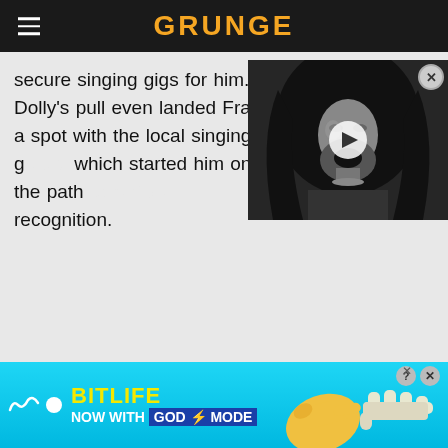GRUNGE
secure singing gigs for him. Dolly's pull even landed Frank a spot with the local singing g... which started him on the path... recognition.
[Figure (screenshot): Black and white video thumbnail of a long-haired person singing, with a play button overlay and close button]
[Figure (infographic): BitLife advertisement banner - NOW WITH GOD MODE]